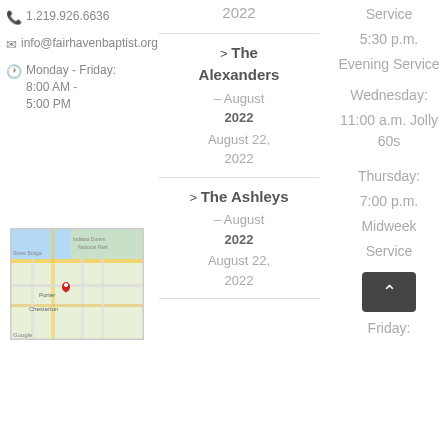1.219.926.6636
info@fairhavenbaptist.org
Monday - Friday: 8:00 AM - 5:00 PM
[Figure (map): Google map showing location with red pin marker near Porter/Chesterton area, Indiana Dunes National Park visible]
2022
> The Alexanders – August 2022
August 22, 2022
> The Ashleys – August 2022
August 22, 2022
Service
5:30 p.m. Evening Service
Wednesday:
11:00 a.m. Jolly 60s
Thursday:
7:00 p.m. Midweek Service
Friday: